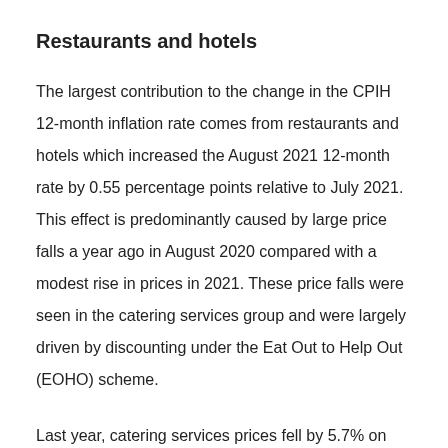Restaurants and hotels
The largest contribution to the change in the CPIH 12-month inflation rate comes from restaurants and hotels which increased the August 2021 12-month rate by 0.55 percentage points relative to July 2021. This effect is predominantly caused by large price falls a year ago in August 2020 compared with a modest rise in prices in 2021. These price falls were seen in the catering services group and were largely driven by discounting under the Eat Out to Help Out (EOHO) scheme.
Last year, catering services prices fell by 5.7% on the month to August, compared with a rise of 0.2% in the